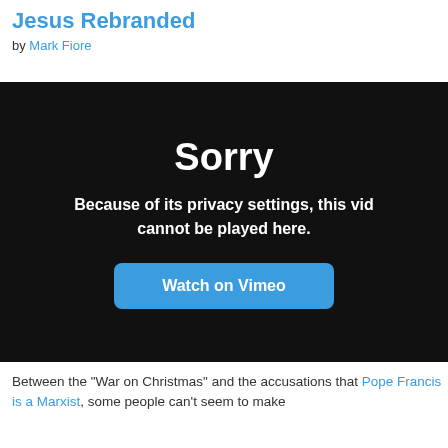Jesus Rebranded
by Mark Fiore
[Figure (screenshot): Vimeo embedded video player showing a privacy error: 'Sorry. Because of its privacy settings, this video cannot be played here.' with a 'Watch on Vimeo' button on a dark background.]
Between the "War on Christmas" and the accusations that Pope Francis is a Marxist, some people can't seem to make